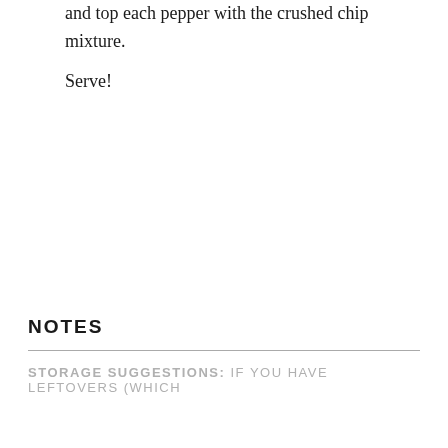and top each pepper with the crushed chip mixture. Serve!
NOTES
STORAGE SUGGESTIONS: If you have leftovers (which